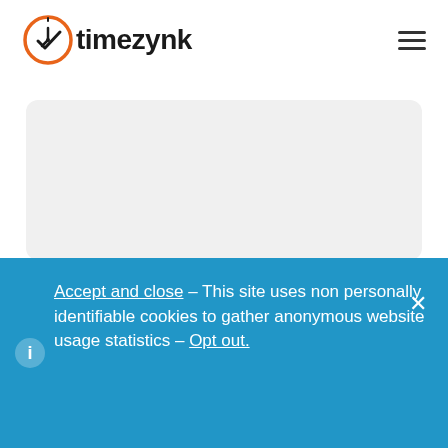[Figure (logo): Timezynk logo: orange circle with clock and checkmark, followed by text 'timezeynk' in dark bold font, with hamburger menu icon on the right]
[Figure (other): Light grey rounded rectangle content area placeholder]
Accept and close – This site uses non personally identifiable cookies to gather anonymous website usage statistics – Opt out.